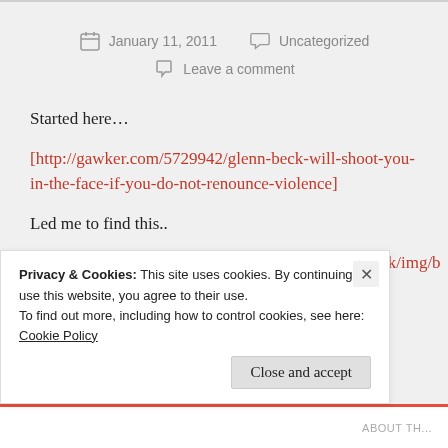January 11, 2011   Uncategorized
Leave a comment
Started here…
[http://gawker.com/5729942/glenn-beck-will-shoot-you-in-the-face-if-you-do-not-renounce-violence]
Led me to find this..
http://www.glennbeck.com/publish/themes/glennbeck/img/b
Privacy & Cookies: This site uses cookies. By continuing to use this website, you agree to their use.
To find out more, including how to control cookies, see here: Cookie Policy
Close and accept